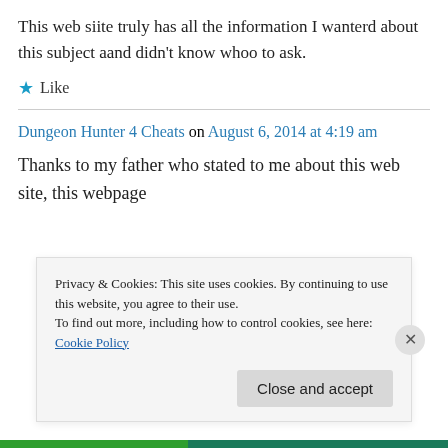This web siite truly has all the information I wanterd about this subject aand didn't know whoo to ask.
★ Like
Dungeon Hunter 4 Cheats on August 6, 2014 at 4:19 am
Thanks to my father who stated to me about this web site, this webpage
Privacy & Cookies: This site uses cookies. By continuing to use this website, you agree to their use.
To find out more, including how to control cookies, see here: Cookie Policy